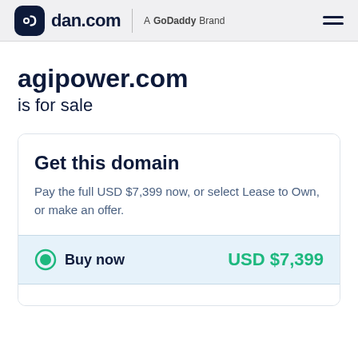dan.com — A GoDaddy Brand
agipower.com is for sale
Get this domain
Pay the full USD $7,399 now, or select Lease to Own, or make an offer.
Buy now  USD $7,399